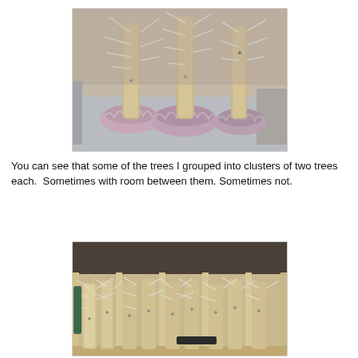[Figure (photo): Three cylindrical cardboard tube tree armatures with wire branches, standing in a metal tray with pink/lavender textured clay or foam material arranged in ruffled skirts around their bases.]
You can see that some of the trees I grouped into clusters of two trees each.  Sometimes with room between them.  Sometimes not.
[Figure (photo): Multiple cylindrical tree armatures with wire branches clustered together, stored upright in a wooden box/tray with dividers. The trees are grouped closely in pairs.]